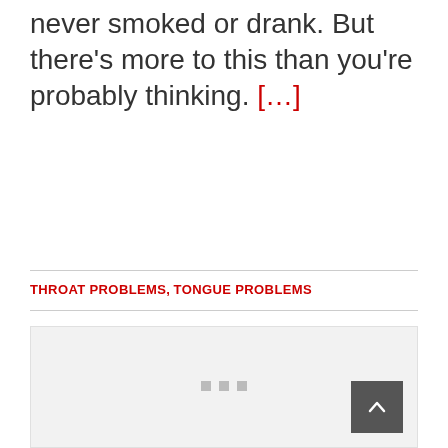never smoked or drank. But there's more to this than you're probably thinking. [...]
THROAT PROBLEMS, TONGUE PROBLEMS
[Figure (other): Light gray placeholder image block with three small square dots near the bottom center and a dark gray scroll-to-top button in the lower right corner]